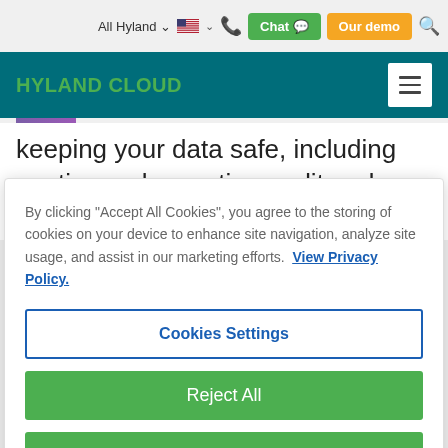All Hyland  [flag] [phone] Chat  Our demo [search]
HYLAND CLOUD
keeping your data safe, including continuously meeting audit and certification standards by
By clicking "Accept All Cookies", you agree to the storing of cookies on your device to enhance site navigation, analyze site usage, and assist in our marketing efforts.  View Privacy Policy.
Cookies Settings
Reject All
Accept All Cookies